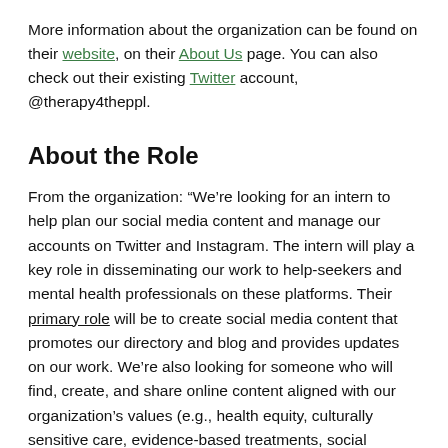More information about the organization can be found on their website, on their About Us page. You can also check out their existing Twitter account, @therapy4theppl.
About the Role
From the organization: “We’re looking for an intern to help plan our social media content and manage our accounts on Twitter and Instagram. The intern will play a key role in disseminating our work to help-seekers and mental health professionals on these platforms. Their primary role will be to create social media content that promotes our directory and blog and provides updates on our work. We’re also looking for someone who will find, create, and share online content aligned with our organization’s values (e.g., health equity, culturally sensitive care, evidence-based treatments, social justice). The intern will track social media engagement to help us maximize Therapy4thePeople’s impact and reach. One year commitment is required, with a flexible schedule of